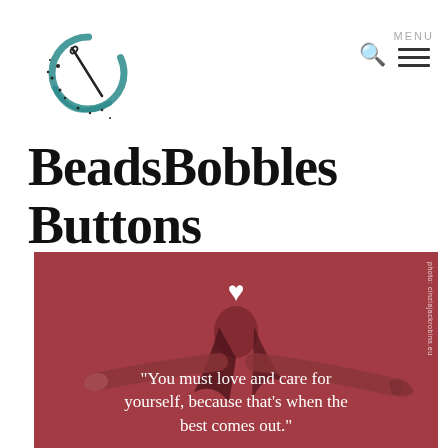[Figure (logo): BeadsBobblesButttons logo: circular teal brushstroke with scattered dot elements and a needle/thread motif inside]
BeadsBobblesButttons
[Figure (photo): Red-toned photo of a woman with long dark hair, arms outstretched, with a white heart icon above her and a quote overlaid: 'You must love and care for yourself, because that's when the best comes out.' Photo credit: photo.cinziajackrobins.eu]
"You must love and care for yourself, because that's when the best comes out."